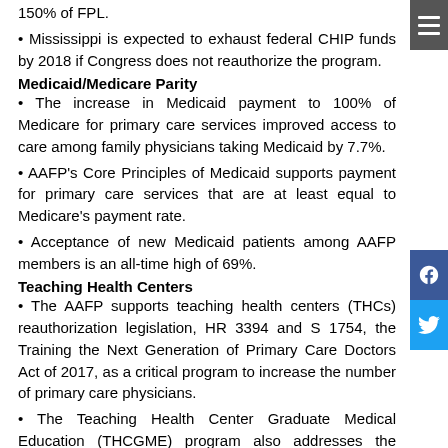150% of FPL.
Mississippi is expected to exhaust federal CHIP funds by 2018 if Congress does not reauthorize the program.
Medicaid/Medicare Parity
The increase in Medicaid payment to 100% of Medicare for primary care services improved access to care among family physicians taking Medicaid by 7.7%.
AAFP's Core Principles of Medicaid supports payment for primary care services that are at least equal to Medicare's payment rate.
Acceptance of new Medicaid patients among AAFP members is an all-time high of 69%.
Teaching Health Centers
The AAFP supports teaching health centers (THCs) reauthorization legislation, HR 3394 and S 1754, the Training the Next Generation of Primary Care Doctors Act of 2017, as a critical program to increase the number of primary care physicians.
The Teaching Health Center Graduate Medical Education (THCGME) program also addresses the regional primary care physician shortage.